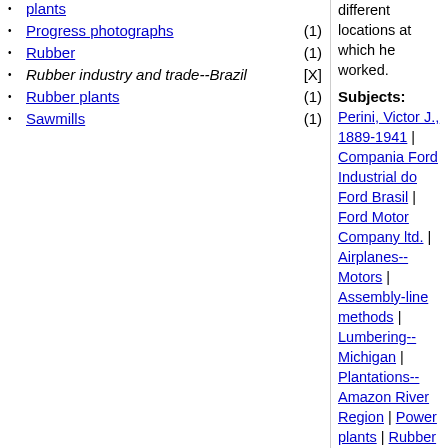plants
Progress photographs (1)
Rubber (1)
Rubber industry and trade--Brazil [X]
Rubber plants (1)
Sawmills (1)
different locations at which he worked.
Subjects:
Perini, Victor J., 1889-1941 | Compania Ford Industrial do Ford Brasil | Ford Motor Company ltd. | Airplanes--Motors | Assembly-line methods | Lumbering--Michigan | Plantations--Amazon River Region | Power plants | Rubber industry and trade--Brazil | Rubber | Rubber